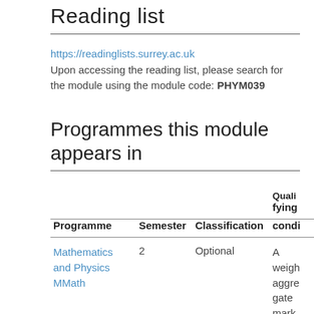Reading list
https://readinglists.surrey.ac.uk
Upon accessing the reading list, please search for the module using the module code: PHYM039
Programmes this module appears in
| Programme | Semester | Classification | Qualifying condition |
| --- | --- | --- | --- |
| Mathematics and Physics MMath | 2 | Optional | A weighted aggregate mark of 50% is requir... |